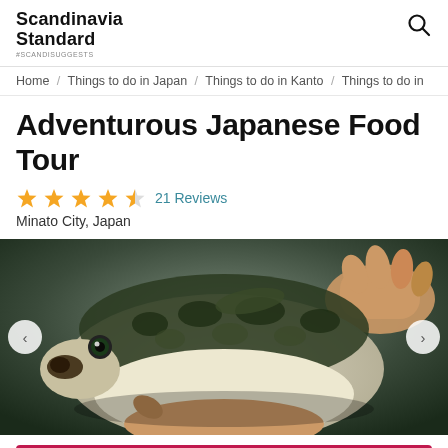Scandinavia Standard #SCANDISUGGESTS
Home / Things to do in Japan / Things to do in Kanto / Things to do in...
Adventurous Japanese Food Tour
★★★★½ 21 Reviews
Minato City, Japan
[Figure (photo): Close-up photo of a person holding a puffer fish (fugu), showing the fish's face and speckled body against a blurred background.]
Check Availability